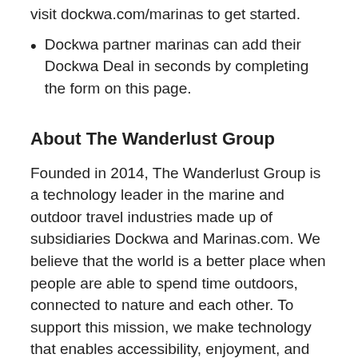visit dockwa.com/marinas to get started.
Dockwa partner marinas can add their Dockwa Deal in seconds by completing the form on this page.
About The Wanderlust Group
Founded in 2014, The Wanderlust Group is a technology leader in the marine and outdoor travel industries made up of subsidiaries Dockwa and Marinas.com. We believe that the world is a better place when people are able to spend time outdoors, connected to nature and each other. To support this mission, we make technology that enables accessibility, enjoyment, and affordability to outdoor spaces for all.